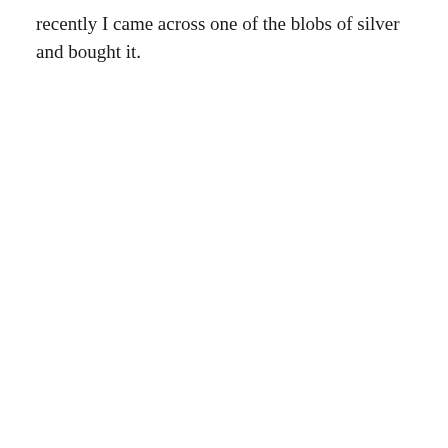recently I came across one of the blobs of silver and bought it.